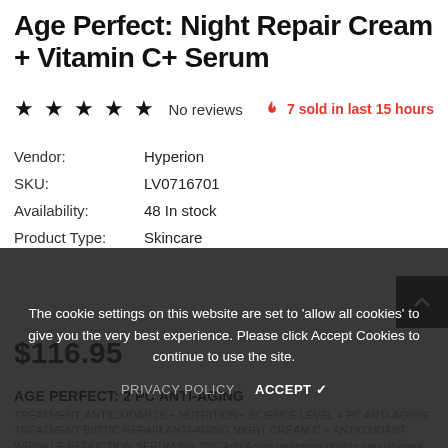Age Perfect: Night Repair Cream + Vitamin C+ Serum
★★★★★ No reviews   🔥 7 sold in last 15 hours
Vendor: Hyperion
SKU: LV0716701
Availability: 48 In stock
Product Type: Skincare
$116.95
AGE PERFECT: 2 PC ANTI-AGING
TREATMENT. ANTIOXIDANTS + NUTRITION+ SCIENCE LEVEL 4 PC ANTI-AGING TREATMENT BIOTIC REPAIR ANTI-AGING NIGHT CREAM C + ANTIOXIDANT WRINKLE REDUCTION SERUM this 2PC Anti-Aging treatment double nourishment for factor skin aging treatment and protection, as well as great to treat neck area aging skin. For Skin Types: Salon...
The cookie settings on this website are set to 'allow all cookies' to give you the very best experience. Please click Accept Cookies to continue to use the site.